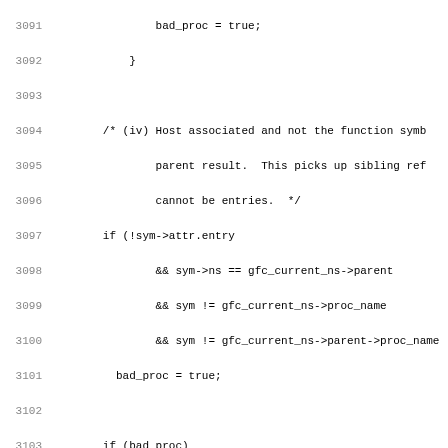Source code listing, lines 3091-3122, C programming language code for compiler/parser logic involving bad_proc, sym attributes, rank checking, and type checking.